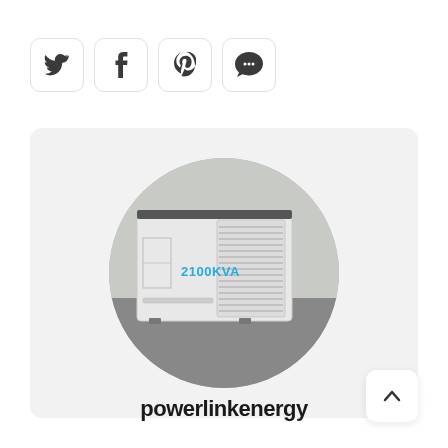[Figure (other): Four social media share buttons (Twitter, Facebook, Pinterest, Comment/Chat) as rounded square icon buttons with border]
[Figure (photo): A white industrial generator unit labeled '2100KVA' displayed in a circular cropped frame on a light grey card background]
powerlinkenergy
[Figure (other): Back to top button with an upward chevron arrow in a rounded square]